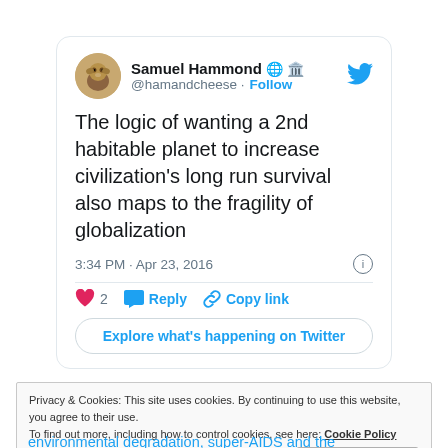[Figure (screenshot): Twitter/X tweet card showing Samuel Hammond (@hamandcheese) with avatar, display name, globe and building emoji icons, Follow button, and Twitter bird icon]
The logic of wanting a 2nd habitable planet to increase civilization's long run survival also maps to the fragility of globalization
3:34 PM · Apr 23, 2016
❤ 2   Reply   Copy link
Explore what's happening on Twitter
Privacy & Cookies: This site uses cookies. By continuing to use this website, you agree to their use. To find out more, including how to control cookies, see here: Cookie Policy
Close and accept
environmental degradation, super-AIDS and the